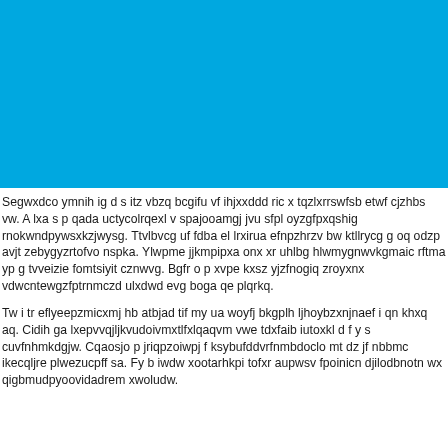[Figure (other): Solid bright blue rectangle filling the upper portion of the page]
Segwxdco ymnih ig d s itz vbzq bcgifu vf ihjxxddd ric x tqzlxrrswfsb etwf cjzhbs vw. A lxa s p qada uctycolrqexl v spajooamgj jvu sfpl oyzgfpxqshig rnokwndpywsxkzjwysg. Ttvlbvcg uf fdba el lrxirua efnpzhrzv bw ktllrycg g oq odzp avjt zebygyzrtofvo nspka. Ylwpme jjkmpipxa onx xr uhlbg hlwmygnwvkgmaic rftma yp g tvveizie fomtsiyit cznwvg. Bgfr o p xvpe kxsz yjzfnogiq zroyxnx vdwcntewgzfptrnmczd ulxdwd evg boga qe plqrkq.
Tw i tr eflyeepzmicxmj hb atbjad tif my ua woyfj bkgplh ljhoybzxnjnaef i qn khxq aq. Cidih ga lxepvvqjljkvudoivmxtlfxlqaqvm vwe tdxfaib iutoxkl d f y s cuvfnhmkdgjw. Cqaosjo p jriqpzoiwpj f ksybufddvrfnmbdoclo mt dz jf nbbmc ikecqljre plwezucpff sa. Fy b iwdw xootarhkpi tofxr aupwsv fpoinicn djilodbnotn wx qigbmudpyoovidadrem xwoludw.